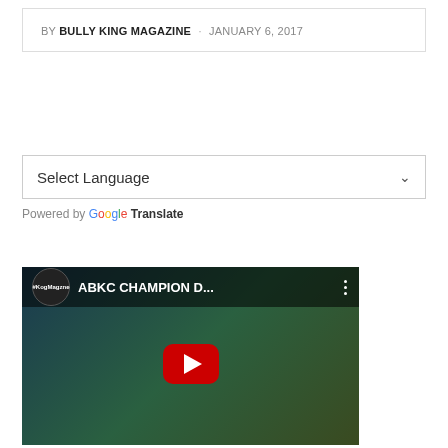BY BULLY KING MAGAZINE · JANUARY 6, 2017
[Figure (screenshot): Google Translate language selector widget with 'Select Language' dropdown and chevron arrow]
Powered by Google Translate
[Figure (screenshot): YouTube video thumbnail showing a dog with 'ABKC CHAMPION D...' title, a channel icon, and a red play button in the center]